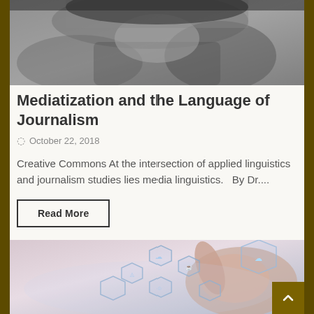[Figure (photo): Black and white photo of a person, partially visible, appears to be at a desk or table]
Mediatization and the Language of Journalism
October 22, 2018
Creative Commons At the intersection of applied linguistics and journalism studies lies media linguistics.   By Dr....
Read More
[Figure (photo): A hand pointing at digital technology icons and hexagonal interface elements, technology concept image]